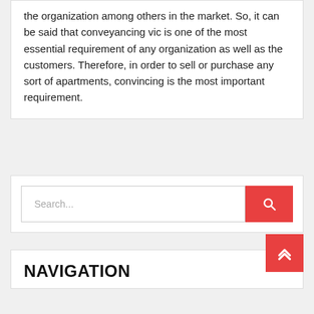the organization among others in the market. So, it can be said that conveyancing vic is one of the most essential requirement of any organization as well as the customers. Therefore, in order to sell or purchase any sort of apartments, convincing is the most important requirement.
Search...
NAVIGATION